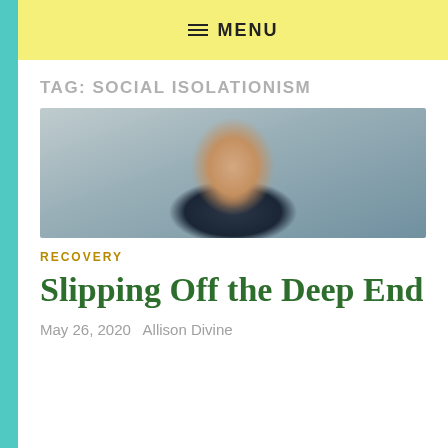≡ MENU
TAG: SOCIAL ISOLATIONISM
[Figure (photo): Young man with messy brown hair looking at camera with an intense expression, wearing a dark jacket, against a grey background]
RECOVERY
Slipping Off the Deep End
May 26, 2020   Allison Divine